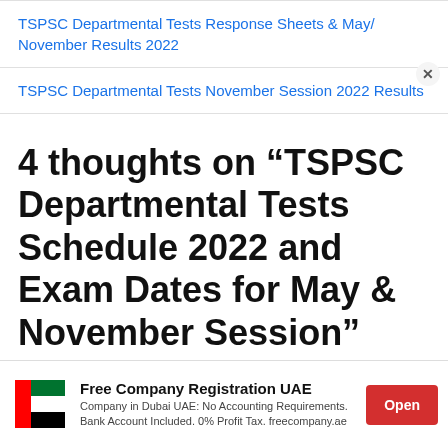TSPSC Departmental Tests Response Sheets & May/ November Results 2022
TSPSC Departmental Tests November Session 2022 Results
4 thoughts on “TSPSC Departmental Tests Schedule 2022 and Exam Dates for May & November Session”
[Figure (other): Advertisement banner for Free Company Registration UAE with UAE flag logo, text about company registration in Dubai UAE, and red Open button]